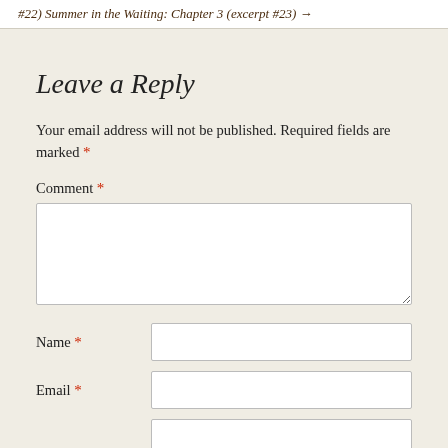#22) Summer in the Waiting: Chapter 3 (excerpt #23) →
Leave a Reply
Your email address will not be published. Required fields are marked *
Comment *
Name *
Email *